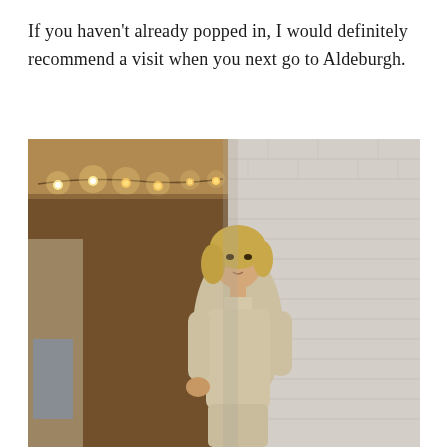If you haven't already popped in, I would definitely recommend a visit when you next go to Aldeburgh.
[Figure (photo): A woman with blonde hair wearing a beige/cream oversized turtleneck sweater, leaning against a white painted brick wall. Behind her is a corridor with warm string lights hanging along the ceiling. The setting appears to be an outdoor or semi-outdoor passage of a building.]